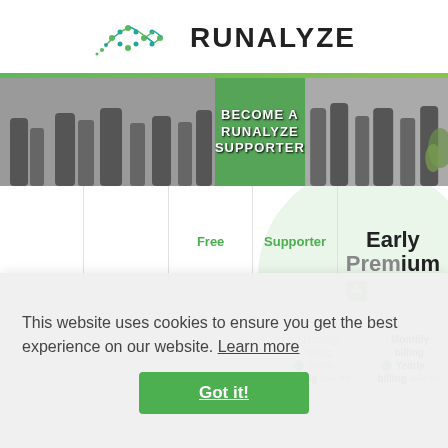[Figure (logo): Runalyze logo with infinity/DNA-like symbol in green and teal, with text RUNALYZE in bold]
[Figure (photo): Banner photo of runners' legs with green overlay text: BECOME A RUNALYZE SUPPORTER]
Early
Premium
Free
Supporter
Monthly billing
Monthly billing
Yearly billing Save 8%
Yearly billing Save 9%
This website uses cookies to ensure you get the best experience on our website.  Learn more
Got it!